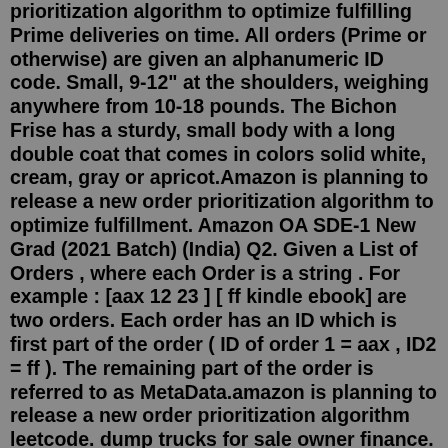prioritization algorithm to optimize fulfilling Prime deliveries on time. All orders (Prime or otherwise) are given an alphanumeric ID code. Small, 9-12" at the shoulders, weighing anywhere from 10-18 pounds. The Bichon Frise has a sturdy, small body with a long double coat that comes in colors solid white, cream, gray or apricot.Amazon is planning to release a new order prioritization algorithm to optimize fulfillment. Amazon OA SDE-1 New Grad (2021 Batch) (India) Q2. Given a List of Orders , where each Order is a string . For example : [aax 12 23 ] [ ff kindle ebook] are two orders. Each order has an ID which is first part of the order ( ID of order 1 = aax , ID2 = ff ). The remaining part of the order is referred to as MetaData.amazon is planning to release a new order prioritization algorithm leetcode. dump trucks for sale owner finance. arkansas football win total. ... TARIFF PLAN . Change plan . Add plan . No tariff plan added for this transaction. ... From time to time ZTE may release new software for your dongle. By updating your dongle to the latest available ...Amazon